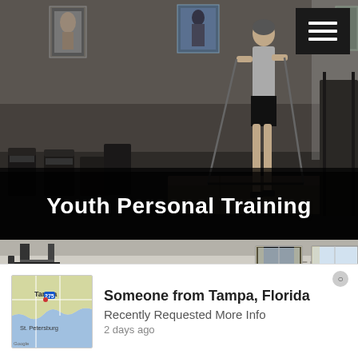[Figure (photo): Gym interior with a person exercising with resistance bands, sports posters on wall, chairs and couch visible, dark moody lighting]
Youth Personal Training
[Figure (photo): Gym interior with exercise equipment rack, large windows, motivational words EFFORT FOCUS on walls, person visible in background]
Someone from Tampa, Florida
Recently Requested More Info
2 days ago